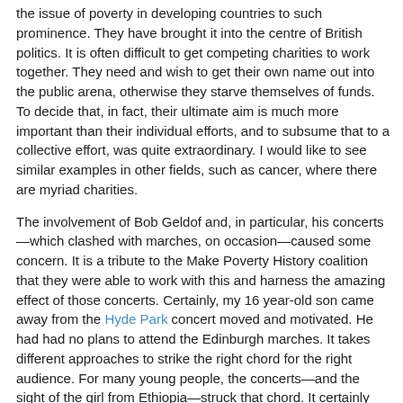the issue of poverty in developing countries to such prominence. They have brought it into the centre of British politics. It is often difficult to get competing charities to work together. They need and wish to get their own name out into the public arena, otherwise they starve themselves of funds. To decide that, in fact, their ultimate aim is much more important than their individual efforts, and to subsume that to a collective effort, was quite extraordinary. I would like to see similar examples in other fields, such as cancer, where there are myriad charities.
The involvement of Bob Geldof and, in particular, his concerts—which clashed with marches, on occasion—caused some concern. It is a tribute to the Make Poverty History coalition that they were able to work with this and harness the amazing effect of those concerts. Certainly, my 16 year-old son came away from the Hyde Park concert moved and motivated. He had had no plans to attend the Edinburgh marches. It takes different approaches to strike the right chord for the right audience. For many young people, the concerts—and the sight of the girl from Ethiopia—struck that chord. It certainly did for my children.
The G8 countries—especially the UK, because of its pivotal role—were asked in 2005 to deliver key promises to the developing countries. Africa is the only continent that is going backwards in efforts to reach the MDGs, as we have heard. For example, if current trends continue,